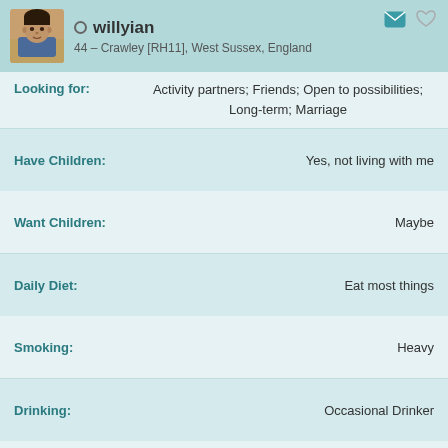[Figure (photo): Profile photo of willyian, a man approximately 44 years old]
willyian
44 – Crawley [RH11], West Sussex, England
Looking for: Activity partners; Friends; Open to possibilities; Long-term; Marriage
| Have Children: | Yes, not living with me |
| Want Children: | Maybe |
| Daily Diet: | Eat most things |
| Smoking: | Heavy |
| Drinking: | Occasional Drinker |
| Education: | Haven't completed high / secondary school |
| Occupation: | Self-employed |